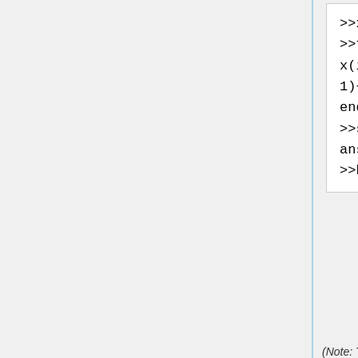[Figure (screenshot): Code block showing MATLAB/Octave code: >>x(1)=1, >>for ii=2:1000, x(ii)=mod(a*x(ii-1)+b,m);, end, >>size(x), ans=1  1000, >>hist(x)]
[Figure (histogram): Histogram of x]
(Note: The semicolon after the